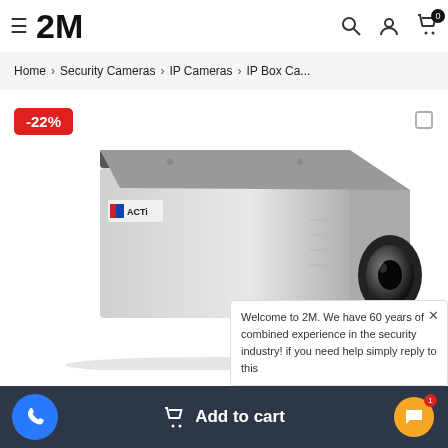2M (logo) — hamburger menu, search, account, cart (0)
Home › Security Cameras › IP Cameras › IP Box Ca...
[Figure (screenshot): ACTi brand IP box security camera, white/grey, viewed from front-left angle]
-22%
Welcome to 2M. We have 60 years of combined experience in the security industry! if you need help simply reply to this
Add to cart